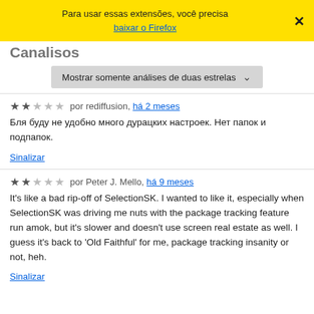Para usar essas extensões, você precisa baixar o Firefox ×
Canalisos
Mostrar somente análises de duas estrelas
★★☆☆☆ por rediffusion, há 2 meses
Бля буду не удобно много дурацких настроек. Нет папок и подпапок.
Sinalizar
★★☆☆☆ por Peter J. Mello, há 9 meses
It's like a bad rip-off of SelectionSK. I wanted to like it, especially when SelectionSK was driving me nuts with the package tracking feature run amok, but it's slower and doesn't use screen real estate as well. I guess it's back to 'Old Faithful' for me, package tracking insanity or not, heh.
Sinalizar